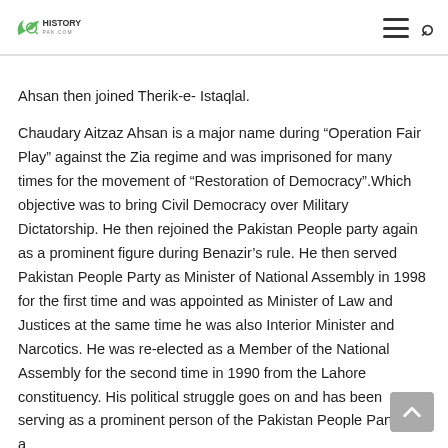HistoryPak.com
Ahsan then joined Therik-e- Istaqlal.
Chaudary Aitzaz Ahsan is a major name during “Operation Fair Play” against the Zia regime and was imprisoned for many times for the movement of “Restoration of Democracy”.Which objective was to bring Civil Democracy over Military Dictatorship. He then rejoined the Pakistan People party again as a prominent figure during Benazir’s rule. He then served Pakistan People Party as Minister of National Assembly in 1998 for the first time and was appointed as Minister of Law and Justices at the same time he was also Interior Minister and Narcotics. He was re-elected as a Member of the National Assembly for the second time in 1990 from the Lahore constituency. His political struggle goes on and has been serving as a prominent person of the Pakistan People Party as a